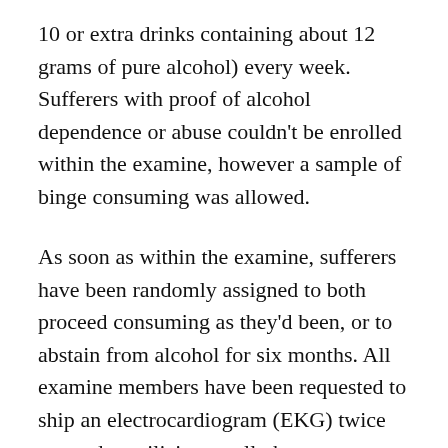10 or extra drinks containing about 12 grams of pure alcohol) every week. Sufferers with proof of alcohol dependence or abuse couldn't be enrolled within the examine, however a sample of binge consuming was allowed.
As soon as within the examine, sufferers have been randomly assigned to both proceed consuming as they'd been, or to abstain from alcohol for six months. All examine members have been requested to ship an electrocardiogram (EKG) twice every day utilizing a cell phone app, except they already had a pacemaker or implantable loop recorder that might be used to observe their coronary heart rhythm. In the event that they skilled